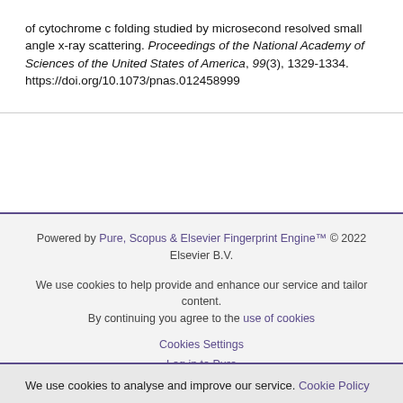of cytochrome c folding studied by microsecond-resolved small angle x-ray scattering. Proceedings of the National Academy of Sciences of the United States of America, 99(3), 1329-1334. https://doi.org/10.1073/pnas.012458999
Powered by Pure, Scopus & Elsevier Fingerprint Engine™ © 2022 Elsevier B.V.
We use cookies to help provide and enhance our service and tailor content. By continuing you agree to the use of cookies
Cookies Settings
Log in to Pure
We use cookies to analyse and improve our service. Cookie Policy